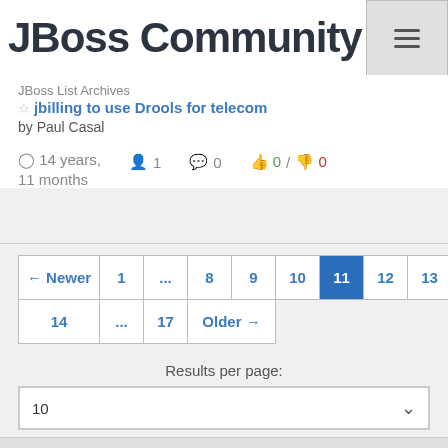[Figure (logo): JBoss Community logo text in dark gray on white background]
JBoss List Archives
☆ jbilling to use Drools for telecom
by Paul Casal
⏱ 14 years, 11 months   👤 1   💬 0   👍 0 / 👎 0
← Newer  1  ...  8  9  10  11  12  13  14  ...  17  Older →
Results per page:
10